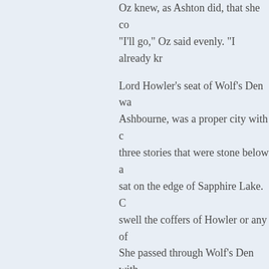Oz knew, as Ashton did, that she co... "I'll go," Oz said evenly. "I already kr...

Lord Howler's seat of Wolf's Den wa... Ashbourne, was a proper city with c... three stories that were stone below a... sat on the edge of Sapphire Lake. C... swell the coffers of Howler or any of... She passed through Wolf's Den with... highlands, turning off the main road... steady incline and then down again... and thick that they blotted out the su... sound of her horses' hooves. The ta... Oz climbed a gentle rise. The Tower... realm and wasn't hard to find if you k... trophies.

The Tower was fifty feet tall and ma... very top of the tower, but there were... observed, but there hadn't been any... only half a year since Sir Hardwin ha... lured there with honey-sweet lies. S...

She swung the grapnel she had take...